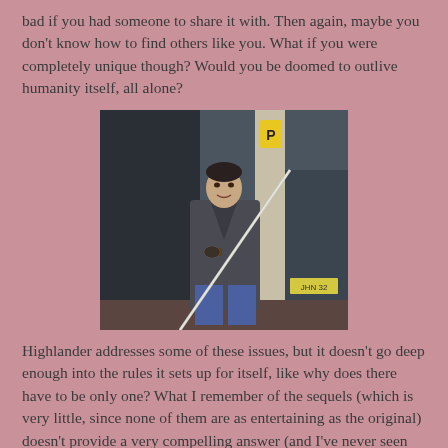bad if you had someone to share it with. Then again, maybe you don't know how to find others like you. What if you were completely unique though? Would you be doomed to outlive humanity itself, all alone?
[Figure (photo): A man in a long dark coat holding a sword, posed in what appears to be a parking garage or industrial setting. Scene from the movie Highlander.]
Highlander addresses some of these issues, but it doesn't go deep enough into the rules it sets up for itself, like why does there have to be only one? What I remember of the sequels (which is very little, since none of them are as entertaining as the original) doesn't provide a very compelling answer (and I've never seen the TV series).